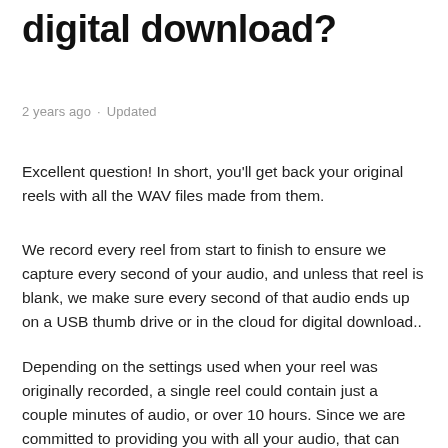digital download?
2 years ago · Updated
Excellent question! In short, you'll get back your original reels with all the WAV files made from them.
We record every reel from start to finish to ensure we capture every second of your audio, and unless that reel is blank, we make sure every second of that audio ends up on a USB thumb drive or in the cloud for digital download..
Depending on the settings used when your reel was originally recorded, a single reel could contain just a couple minutes of audio, or over 10 hours. Since we are committed to providing you with all your audio, that can mean 1 WAV file per reel, or upwards of 10 WAV files per reel. The reel is